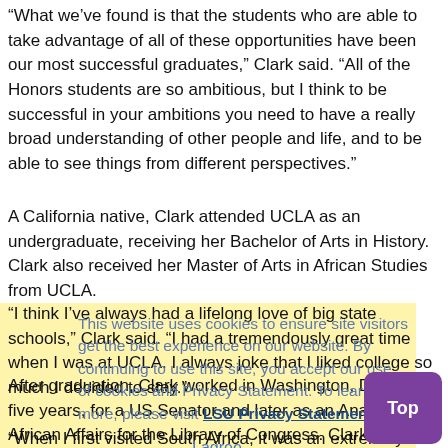“What we’ve found is that the students who are able to take advantage of all of these opportunities have been our most successful graduates,” Clark said. “All of the Honors students are so ambitious, but I think to be successful in your ambitions you need to have a really broad understanding of other people and life, and to be able to see things from different perspectives.”
A California native, Clark attended UCLA as an undergraduate, receiving her Bachelor of Arts in History. Clark also received her Master of Arts in African Studies from UCLA.
“I think I’ve always had a lifelong love of big state schools,” Clark said. “I had a tremendously great time when I was at UCLA. I always joke that I liked college so much I decided to stay.”
After graduation, Clark worked in Washington, D.C. for five years, for a US Senator and later as an Analyst of African Affairs for the Library of Congress. Clark’s research analyst position led her back to school, where she attended Yale University and received her PhD in History. Clark’s research interests focused in on apartheid in South Africa. Since her first visit in 1983, Clark has returned to South Africa ten times to continue her research.
“When I first visited South Africa, it was an extremely interesting
This website uses cookies to ensure site visitors get the best experience on our website. By continuing to use this site, you accept our use of cookies and Privacy Statement. To learn more, please visit LSU Privacy Statement.
I agree.